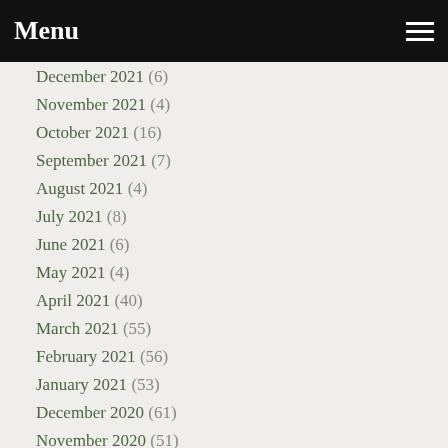Menu
December 2021 (6)
November 2021 (4)
October 2021 (16)
September 2021 (7)
August 2021 (4)
July 2021 (8)
June 2021 (6)
May 2021 (4)
April 2021 (40)
March 2021 (55)
February 2021 (56)
January 2021 (53)
December 2020 (61)
November 2020 (51)
October 2020 (32)
September 2020 (34)
August 2020 (21)
July 2020 (16)
June 2020 (17)